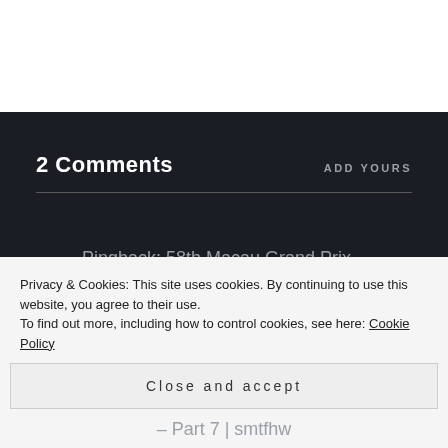2 Comments
ADD YOURS
Pingback: 58th Macau Grand Prix –
Privacy & Cookies: This site uses cookies. By continuing to use this website, you agree to their use.
To find out more, including how to control cookies, see here: Cookie Policy
Close and accept
– Part 7 | smtfhw